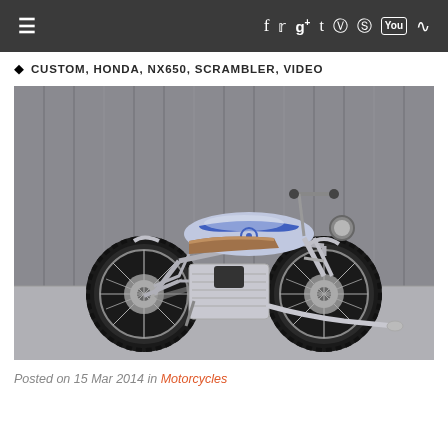≡  f  t  g+  t  (instagram)  (pinterest)  You  (rss)
♦  CUSTOM, HONDA, NX650, SCRAMBLER, VIDEO
[Figure (photo): Custom Honda NX650 Scrambler motorcycle in silver and blue, with knobby tires, brown leather seat, exposed chrome engine and frame, photographed in a garage/warehouse setting against corrugated metal walls.]
Posted on 15 Mar 2014 in Motorcycles